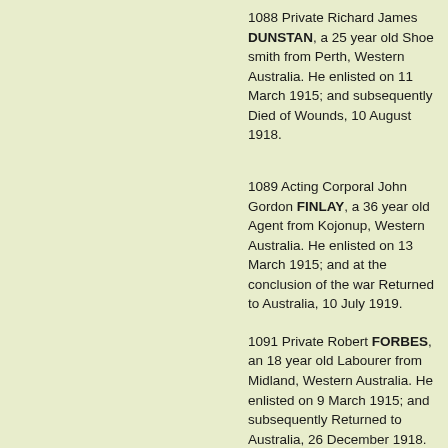1088 Private Richard James DUNSTAN, a 25 year old Shoe smith from Perth, Western Australia. He enlisted on 11 March 1915; and subsequently Died of Wounds, 10 August 1918.
1089 Acting Corporal John Gordon FINLAY, a 36 year old Agent from Kojonup, Western Australia. He enlisted on 13 March 1915; and at the conclusion of the war Returned to Australia, 10 July 1919.
1091 Private Robert FORBES, an 18 year old Labourer from Midland, Western Australia. He enlisted on 9 March 1915; and subsequently Returned to Australia, 26 December 1918.
1090 Private Edward Norman FORREST, a 29 year old Farmer from Dwellingup, Western Australia. He enlisted